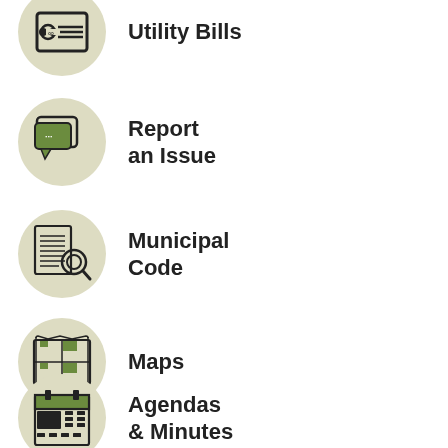Utility Bills
Report an Issue
Municipal Code
Maps
Agendas & Minutes